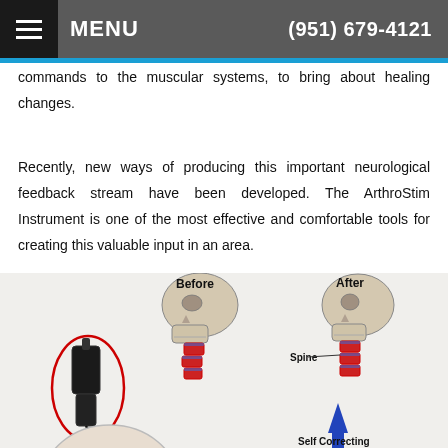MENU  (951) 679-4121
commands to the muscular systems, to bring about healing changes.
Recently, new ways of producing this important neurological feedback stream have been developed. The ArthroStim Instrument is one of the most effective and comfortable tools for creating this valuable input in an area.
[Figure (illustration): Medical illustration showing Before and After comparison of spine alignment. The Before image shows a skull with a chiropractic instrument (ArthroStim) applied to the cervical spine. The After image shows the skull with corrected spine alignment, a blue arrow pointing upward labeled 'Self Correcting', and a label 'Spine' pointing to the cervical vertebrae.]